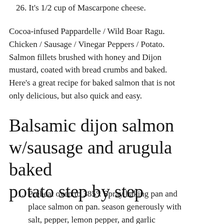26. It's 1/2 cup of Mascarpone cheese.
Cocoa-infused Pappardelle / Wild Boar Ragu. Chicken / Sausage / Vinegar Peppers / Potato. Salmon fillets brushed with honey and Dijon mustard, coated with bread crumbs and baked. Here's a great recipe for baked salmon that is not only delicious, but also quick and easy.
Balsamic dijon salmon w/sausage and arugula baked potato step by step
1. Preheat oven to 385°. Spray baking pan and place salmon on pan. season generously with salt, pepper, lemon pepper, and garlic